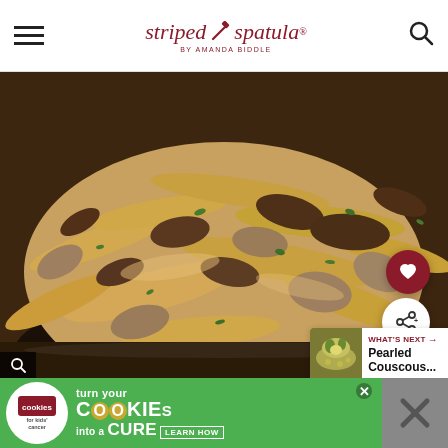striped spatula by AMANDA BIDDLE
[Figure (photo): Close-up photo of a skillet filled with beef stroganoff pasta — wide egg noodles, ground beef, mushrooms in a creamy sauce, garnished with fresh parsley.]
WHAT'S NEXT → Pearled Couscous...
OTHER RECIPE QUESTIONS
[Figure (infographic): Advertisement banner: 'cookies for kids cancer — turn your COOKIES into a CURE LEARN HOW']